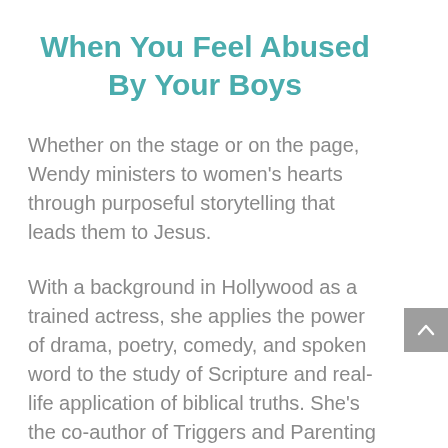When You Feel Abused By Your Boys
Whether on the stage or on the page, Wendy ministers to women's hearts through purposeful storytelling that leads them to Jesus.
With a background in Hollywood as a trained actress, she applies the power of drama, poetry, comedy, and spoken word to the study of Scripture and real-life application of biblical truths. She's the co-author of Triggers and Parenting Scripts.